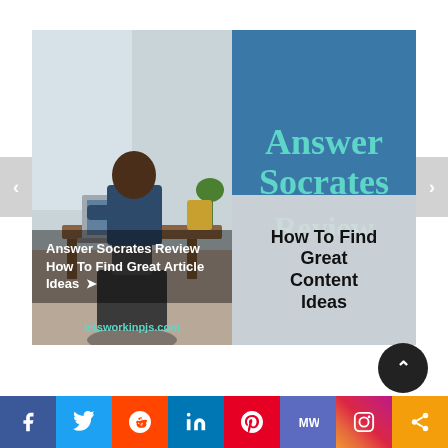[Figure (photo): Composite image: left half shows a Black man working at a laptop at a desk (photo), right half is blue background with teal text 'Answer Socrates Review' and a light gray box overlaid at bottom with bold black text 'How To Find Great Content Ideas'. Overlay bar at bottom-left shows title text. Website URL 'letsworkinpjs.com' in teal at bottom left of photo.]
Answer Socrates Review How To Find Great Article Ideas ➤
Facebook Twitter Reddit LinkedIn Pinterest MileageWise Instagram Share